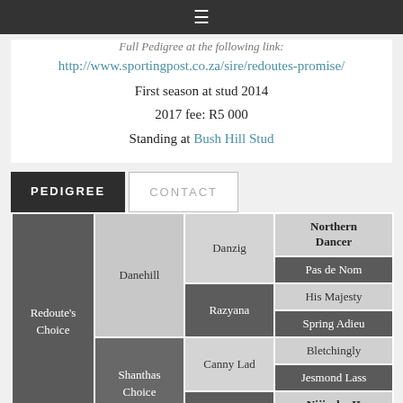≡
Full Pedigree at the following link:
http://www.sportingpost.co.za/sire/redoutes-promise/
First season at stud 2014
2017 fee: R5 000
Standing at Bush Hill Stud
| Horse | Sire/Dam | Grandsire/dam | Great-grandsire/dam |
| --- | --- | --- | --- |
| Redoute's Choice | Danehill | Danzig | Northern Dancer |
|  |  |  | Pas de Nom |
|  |  | Razyana | His Majesty |
|  |  |  | Spring Adieu |
|  | Shanthas Choice | Canny Lad | Bletchingly |
|  |  |  | Jesmond Lass |
|  |  | Dancing | Nijinsky II |